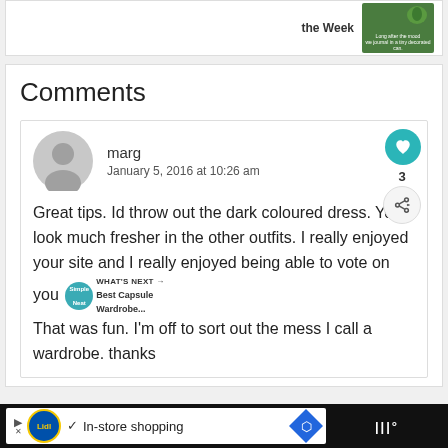Comments
marg
January 5, 2016 at 10:26 am
Great tips. Id throw out the dark coloured dress. You look much fresher in the other outfits. I really enjoyed your site and I really enjoyed being able to vote on you... That was fun. I'm off to sort out the mess I call a wardrobe. thanks
[Figure (screenshot): Ad bar at bottom: Lidl logo, checkmark, In-store shopping text, blue direction diamond icon]
WHAT'S NEXT → Best Capsule Wardrobe...